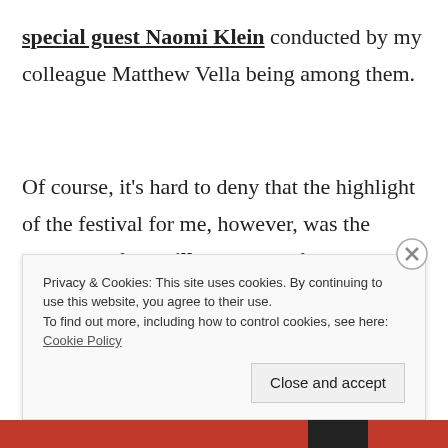special guest Naomi Klein conducted by my colleague Matthew Vella being among them.

Of course, it's hard to deny that the highlight of the festival for me, however, was the premiere of Camilla, the short film that I co-wrote with director Stephanie Sant and adapted from the short story of the same name by Clare Azzopardi, with a dash of Sheridan Le Fanu's 'Carmilla' thrown in to
Privacy & Cookies: This site uses cookies. By continuing to use this website, you agree to their use.
To find out more, including how to control cookies, see here: Cookie Policy
[Close and accept]